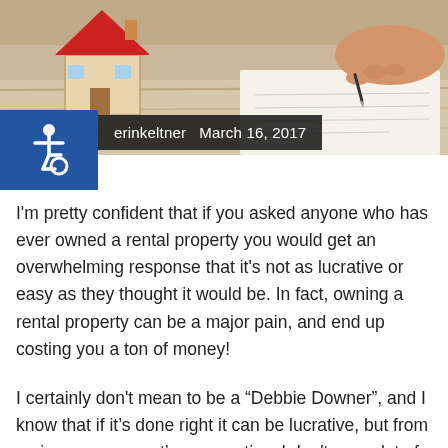[Figure (photo): Photo of a small model house with red roof and a hand writing/signing a document, suggesting real estate or insurance context]
erinkeltner  March 16, 2017
I'm pretty confident that if you asked anyone who has ever owned a rental property you would get an overwhelming response that it's not as lucrative or easy as they thought it would be. In fact, owning a rental property can be a major pain, and end up costing you a ton of money!
I certainly don't mean to be a “Debbie Downer”, and I know that if it's done right it can be lucrative, but from an insurance agent’s perspective, I don't see a lot of people doing it right.
So you’re probably thinking, “Well Chris, you are an insurance agent. What do you know about real